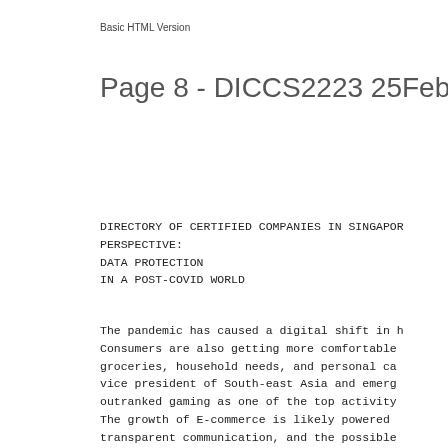Basic HTML Version
Page 8 - DICCS2223 25Feb20
DIRECTORY OF CERTIFIED COMPANIES IN SINGAPOR
PERSPECTIVE:
DATA PROTECTION
IN A POST-COVID WORLD
The pandemic has caused a digital shift in h
Consumers are also getting more comfortable
groceries, household needs, and personal ca
vice president of South-east Asia and emerg
outranked gaming as one of the top activity
The growth of E-commerce is likely powered
transparent communication, and the possible